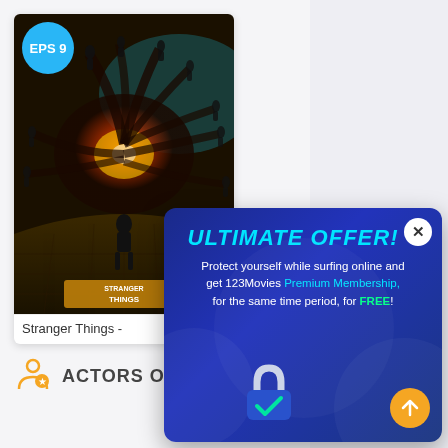[Figure (screenshot): Stranger Things TV show card with dark poster image showing a glowing monster hand and silhouetted figure. Blue circle badge in top-left reads EPS 9.]
Stranger Things -
ACTORS O
[Figure (infographic): Dark blue popup ad overlay with close button (X). Title: ULTIMATE OFFER! Body text: Protect yourself while surfing online and get 123Movies Premium Membership, for the same time period, for FREE! Lock icon with checkmark at bottom center. Orange up-arrow circle button at bottom right.]